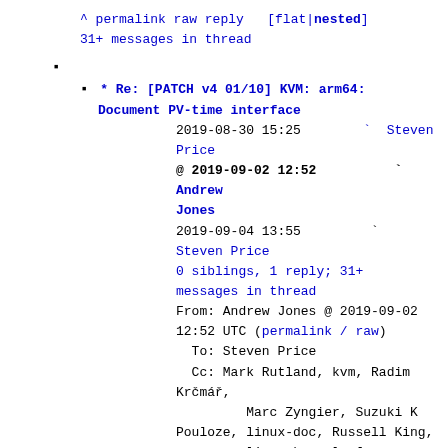^ permalink raw reply    [flat|nested]
31+ messages in thread
* Re: [PATCH v4 01/10] KVM: arm64: Document PV-time interface
2019-08-30 15:25        ` Steven Price
@ 2019-09-02 12:52          ` Andrew Jones
2019-09-04 13:55        `
Steven Price
0 siblings, 1 reply; 31+ messages in thread
From: Andrew Jones @ 2019-09-02 12:52 UTC (permalink / raw)
  To: Steven Price
  Cc: Mark Rutland, kvm, Radim Krčmář,
          Marc Zyngier, Suzuki K Pouloze, linux-doc, Russell King,
          linux-kernel, James Morse, Julien Thierry, Catalin Marinas,
          Paolo Bonzini, Will Deacon, kvmarm, linux-arm-kernel

On Fri, Aug 30, 2019 at 04:25:08PM +0100, Steven Price wrote: